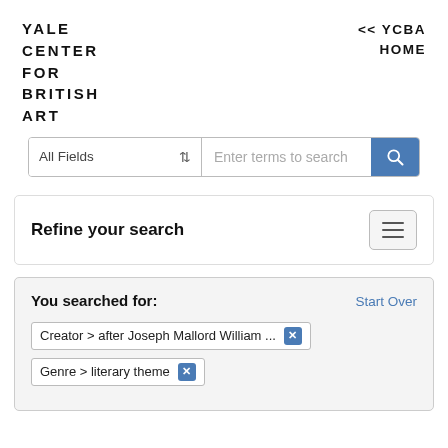YALE CENTER FOR BRITISH ART
<< YCBA HOME
[Figure (screenshot): Search bar with 'All Fields' dropdown and 'Enter terms to search' placeholder text and a blue search button]
Refine your search
You searched for:
Start Over
Creator > after Joseph Mallord William ...
Genre > literary theme